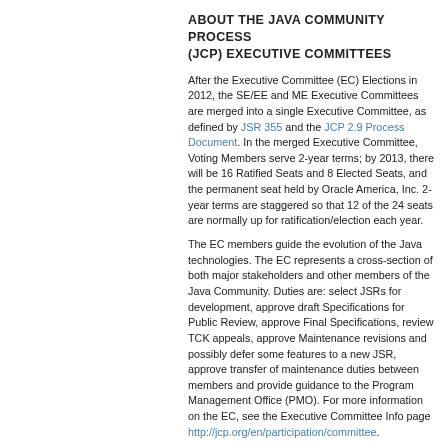ABOUT THE JAVA COMMUNITY PROCESS (JCP) EXECUTIVE COMMITTEES
After the Executive Committee (EC) Elections in 2012, the SE/EE and ME Executive Committees are merged into a single Executive Committee, as defined by JSR 355 and the JCP 2.9 Process Document. In the merged Executive Committee, Voting Members serve 2-year terms; by 2013, there will be 16 Ratified Seats and 8 Elected Seats, and the permanent seat held by Oracle America, Inc. 2-year terms are staggered so that 12 of the 24 seats are normally up for ratification/election each year.
The EC members guide the evolution of the Java technologies. The EC represents a cross-section of both major stakeholders and other members of the Java Community. Duties are: select JSRs for development, approve draft Specifications for Public Review, approve Final Specifications, review TCK appeals, approve Maintenance revisions and possibly defer some features to a new JSR, approve transfer of maintenance duties between members and provide guidance to the Program Management Office (PMO). For more information on the EC, see the Executive Committee Info page http://jcp.org/en/participation/committee.
For 2012 EC Elections results, please look here.
For 2011 EC Elections results, please look here.